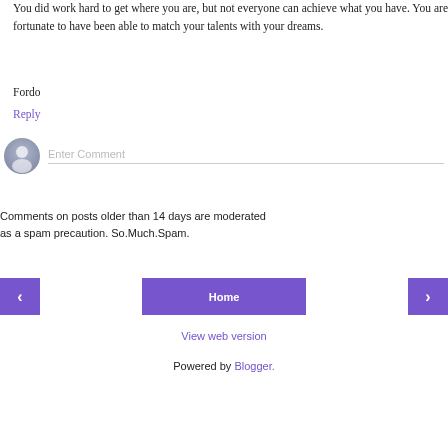You did work hard to get where you are, but not everyone can achieve what you have. You are fortunate to have been able to match your talents with your dreams.
Fordo
Reply
[Figure (other): Comment input area with user avatar icon and 'Enter Comment' placeholder text field]
Comments on posts older than 14 days are moderated as a spam precaution. So.Much.Spam.
[Figure (other): Navigation buttons: left arrow button, Home button, right arrow button]
View web version
Powered by Blogger.